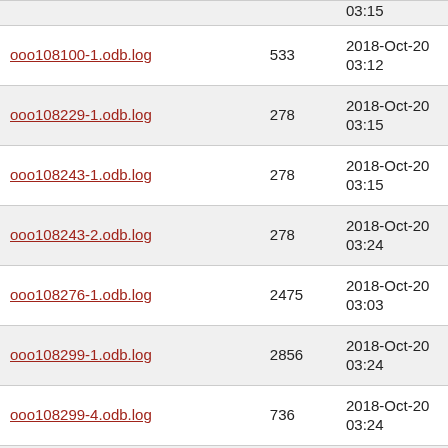| Filename | Size | Date |
| --- | --- | --- |
| ooo108100-1.odb.log | 533 | 2018-Oct-20 03:12 |
| ooo108229-1.odb.log | 278 | 2018-Oct-20 03:15 |
| ooo108243-1.odb.log | 278 | 2018-Oct-20 03:15 |
| ooo108243-2.odb.log | 278 | 2018-Oct-20 03:24 |
| ooo108276-1.odb.log | 2475 | 2018-Oct-20 03:03 |
| ooo108299-1.odb.log | 2856 | 2018-Oct-20 03:24 |
| ooo108299-4.odb.log | 736 | 2018-Oct-20 03:24 |
| ooo108342-1.odb.log | 1093 | 2018-Oct-20 03:12 |
| ooo108356-1.odb.log | 735 | 2018-Oct-20 03:22 |
| ooo108366-1.odb.log | 1085 | 2018-Oct-20 03:15 |
| ooo108375-1.odb.log | 10756 | 2018-Oct-20 03:15 |